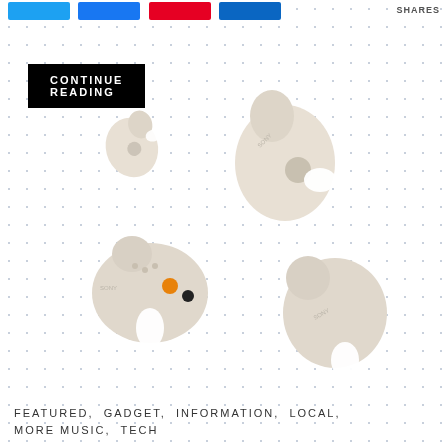SHARES
CONTINUE READING
[Figure (photo): Four Sony wireless earbuds in a beige/cream color, shown from different angles on a white dotted background. They appear to be Sony WF-1000XM5 or similar model true wireless earbuds.]
FEATURED, GADGET, INFORMATION, LOCAL, MORE MUSIC, TECH